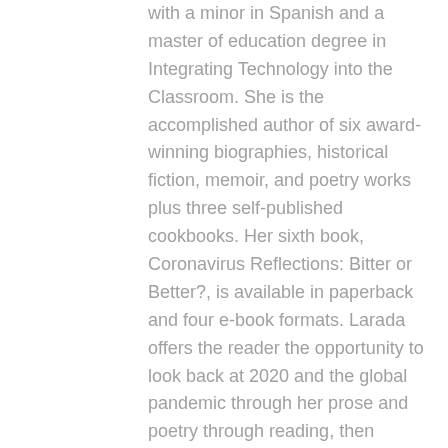with a minor in Spanish and a master of education degree in Integrating Technology into the Classroom. She is the accomplished author of six award-winning biographies, historical fiction, memoir, and poetry works plus three self-published cookbooks. Her sixth book, Coronavirus Reflections: Bitter or Better?, is available in paperback and four e-book formats. Larada offers the reader the opportunity to look back at 2020 and the global pandemic through her prose and poetry through reading, then reflecting and responding. She addresses all the emotions she felt during this overwhelming time and leads the reader through to a self-access: bitter or better?